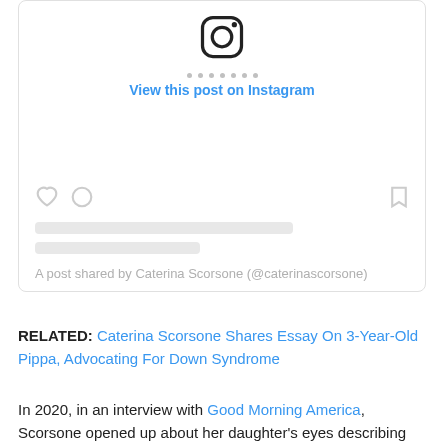[Figure (screenshot): Instagram embed widget showing the Instagram logo icon, a 'View this post on Instagram' link in blue, a spacer area, action icons (heart, comment, bookmark), placeholder text lines, and attribution text 'A post shared by Caterina Scorsone (@caterinascorsone)']
RELATED: Caterina Scorsone Shares Essay On 3-Year-Old Pippa, Advocating For Down Syndrome
In 2020, in an interview with Good Morning America, Scorsone opened up about her daughter's eyes describing them as upside-down rainbows.